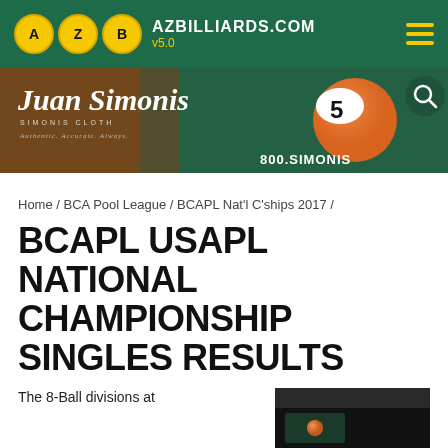AZBILLIARDS.COM v5.0
[Figure (photo): Simonis billiard cloth advertisement banner showing Juan Simonis script logo, billiard ball number 5, and phone number 800.SIMONIS]
Home / BCA Pool League / BCAPL Nat'l C'ships 2017 /
BCAPL USAPL NATIONAL CHAMPIONSHIP SINGLES RESULTS
The 8-Ball divisions at